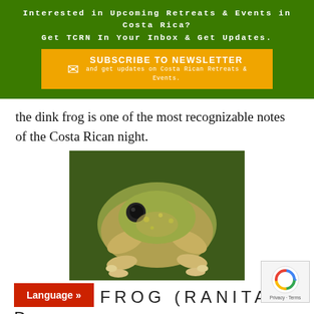Interested in Upcoming Retreats & Events in Costa Rica? Get TCRN In Your Inbox & Get Updates.
[Figure (other): Yellow/gold subscribe to newsletter button with envelope icon on green background. Text reads: SUBSCRIBE TO NEWSLETTER and get updates on Costa Rican Retreats & Events.]
the dink frog is one of the most recognizable notes of the Costa Rican night.
[Figure (photo): Close-up photograph of a glass frog (Ranita de Vidrio) on a leaf, showing translucent greenish-brown body with yellow-green spots.]
GLASS FROG (RANITA D
VIDRIO)
...perhaps the most fascinating of all Costa
[Figure (other): Language button in red with white text 'Language »']
[Figure (other): reCAPTCHA widget showing rotating arrows icon with Privacy - Terms text below]